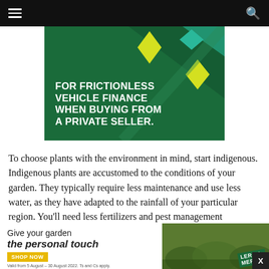Navigation bar with hamburger menu and search icon
[Figure (illustration): Advertisement banner with dark green background and diamond shapes. Text reads: FOR FRICTIONLESS VEHICLE FINANCE WHEN BUYING FROM A PRIVATE SELLER.]
To choose plants with the environment in mind, start indigenous. Indigenous plants are accustomed to the conditions of your garden. They typically require less maintenance and use less water, as they have adapted to the rainfall of your particular region. You’ll need less fertilizers and pest management chemicals, which can leech into the soil and water sources, upsetting the surrounding environments. An indigenous garden
[Figure (infographic): Leroy Merlin advertisement: Give your garden the personal touch. Valid from 5 August - 30 August 2022. Ts and Cs apply. SHOP NOW button. Garden photo background.]